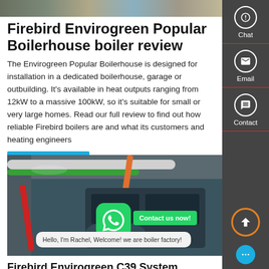[Figure (photo): Industrial boilerhouse equipment photo at top]
Firebird Envirogreen Popular Boilerhouse boiler review
The Envirogreen Popular Boilerhouse is designed for installation in a dedicated boilerhouse, garage or outbuilding. It's available in heat outputs ranging from 12kW to a massive 100kW, so it's suitable for small or very large homes. Read our full review to find out how reliable Firebird boilers are and what its customers and heating engineers
[Figure (photo): Industrial boilerhouse interior with pipes and machinery]
Hello, I'm Rachel, Welcome! we are boiler factory!
Firebird Envirogreen C39 System